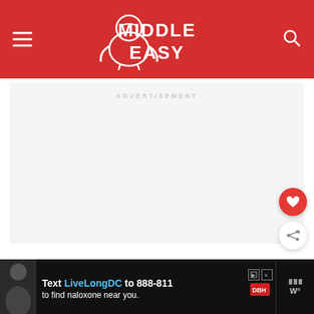Middle Easy
[Figure (other): Advertisement placeholder area with light gray background and 'ADVERTISEMENT' label in light gray text]
[Figure (other): Floating heart/favorite button (red circle with white heart icon) and share button (white circle with share icon) on the right side]
[Figure (other): Bottom banner ad: Text LivLongDC to 888-811 to find naloxone near you, with DBH logo and weather widget showing W° on dark background]